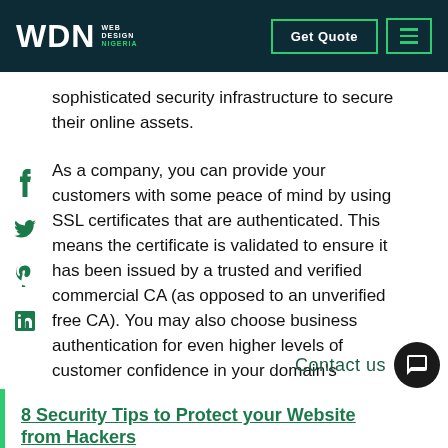WDN Web Design Nigeria | Get Quote | Menu
sophisticated security infrastructure to secure their online assets.
As a company, you can provide your customers with some peace of mind by using SSL certificates that are authenticated. This means the certificate is validated to ensure it has been issued by a trusted and verified commercial CA (as opposed to an unverified free CA). You may also choose business authentication for even higher levels of customer confidence in your domain's website security.
8 Security Tips to Protect your Website from Hackers